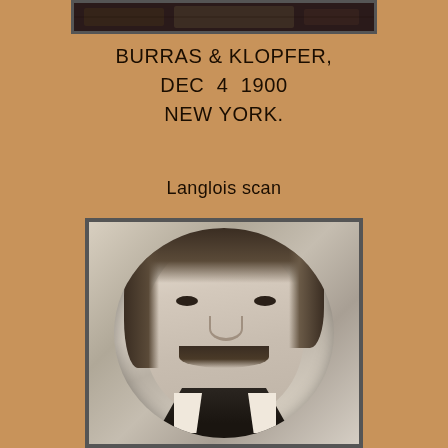[Figure (photo): Partial top edge of a framed photograph, dark background visible at top of page]
BURRAS & KLOPFER,
DEC  4  1900
NEW YORK.
Langlois scan
[Figure (photo): Black and white oval portrait photograph of a middle-aged man with a mustache, wearing a dark suit with white collar, framed in a dark border]